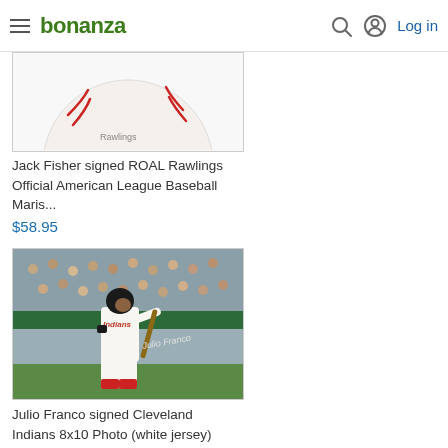bonanza — Log in
[Figure (photo): Partially visible baseball with red stitching on white background]
Jack Fisher signed ROAL Rawlings Official American League Baseball Maris...
$58.95
[Figure (photo): Julio Franco in Cleveland Indians white jersey batting stance, signed 8x10 photo with autograph]
Julio Franco signed Cleveland Indians 8x10 Photo (white jersey)